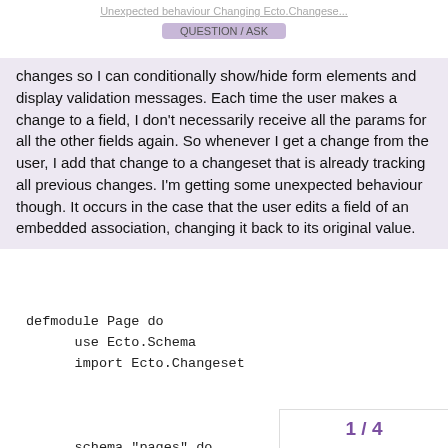Unexpected behaviour Changing Ecto.Changese...
changes so I can conditionally show/hide form elements and display validation messages. Each time the user makes a change to a field, I don't necessarily receive all the params for all the other fields again. So whenever I get a change from the user, I add that change to a changeset that is already tracking all previous changes. I'm getting some unexpected behaviour though. It occurs in the case that the user edits a field of an embedded association, changing it back to its original value.
defmodule Page do
      use Ecto.Schema
      import Ecto.Changeset


      schema "pages" do
         embeds_one :background, Background, on_
           field :color, :string
         end
         timestamps()
1 / 4